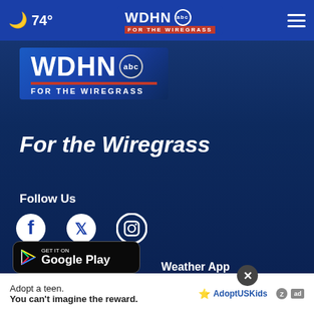74° — WDHN ABC FOR THE WIREGRASS navigation bar
[Figure (logo): WDHN ABC for the Wiregrass large logo]
For the Wiregrass
Follow Us
[Figure (infographic): Social media icons: Facebook, Twitter, Instagram]
News App
Weather App
[Figure (screenshot): Download on the App Store button for News App]
[Figure (screenshot): Download on the App Store button for Weather App with close X overlay]
[Figure (screenshot): Get it on Google Play button]
[Figure (infographic): Ad overlay: Adopt a teen. You can't imagine the reward. AdoptUSKids ad badge]